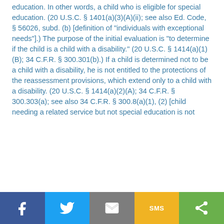education. In other words, a child who is eligible for special education. (20 U.S.C. § 1401(a)(3)(A)(ii); see also Ed. Code, § 56026, subd. (b) [definition of "individuals with exceptional needs"].) The purpose of the initial evaluation is "to determine if the child is a child with a disability." (20 U.S.C. § 1414(a)(1)(B); 34 C.F.R. § 300.301(b).) If a child is determined not to be a child with a disability, he is not entitled to the protections of the reassessment provisions, which extend only to a child with a disability. (20 U.S.C. § 1414(a)(2)(A); 34 C.F.R. § 300.303(a); see also 34 C.F.R. § 300.8(a)(1), (2) [child needing a related service but not special education is not
Social share bar: Facebook, Twitter, Email, SMS, Share